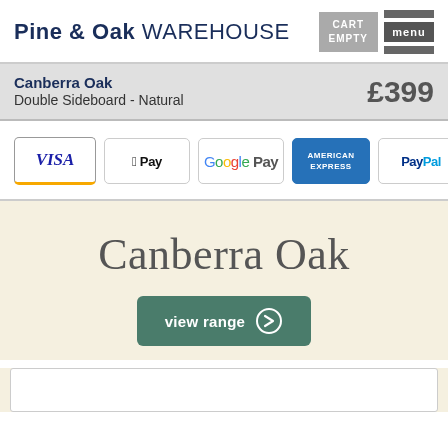Pine & Oak WAREHOUSE | CART EMPTY | menu
Canberra Oak Double Sideboard - Natural £399
[Figure (other): Payment method icons: VISA, Apple Pay, Google Pay, American Express, PayPal, MasterCard]
Canberra Oak
view range →